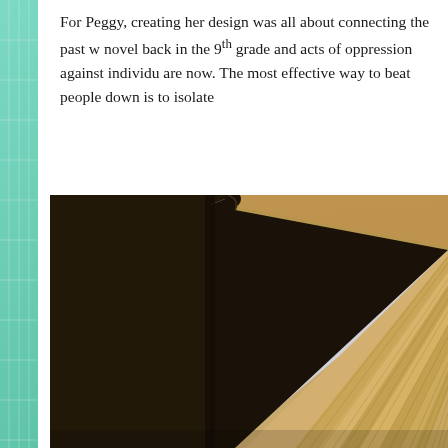For Peggy, creating her design was all about connecting the past with the present. She read the novel back in the 9th grade and acts of oppression against individuals were just as real as they are now. The most effective way to beat people down is to isolate
[Figure (photo): Close-up photograph of the top corner of an old, worn book with a dark leather cover and aged yellowed/tan page edges fanned out, against a light grey background.]